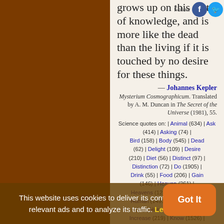grows up on this diet of knowledge, and is more like the dead than the living if it is touched by no desire for these things.
— Johannes Kepler
Mysterium Cosmographicum. Translated by A. M. Duncan in The Secret of the Universe (1981), 55.
Science quotes on: | Animal (634) | Ask (414) | Asking (74) | Bird (158) | Body (545) | Dead (62) | Delight (109) | Desire (210) | Diet (56) | Distinct (97) | Distinction (72) | Do (1905) | Drink (55) | Food (206) | Gain (146) | Heaven (261) | Heavens (125) | Hope (308) | Human (1491) | Human Body (34) | Human Mind (132) | Increase (219) | Know (1526) | Knowledge (1610) | Little (884) | Made (14) | Man (2252) | Mind (1359) | More (2559) | Need (303) | Nourishment (26) | Other
This website uses cookies to deliver its content, to show relevant ads and to analyze its traffic. Learn More